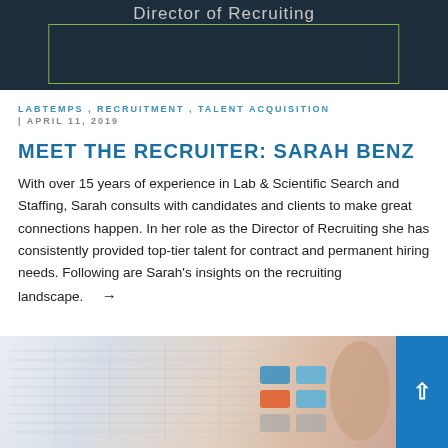[Figure (photo): Dark navy banner with text 'Director of Recruiting' and a green-bordered rectangle box below it]
LABTEMPS , RECRUITMENT , TALENT ACQUISITION | APRIL 11, 2019
MEET THE RECRUITER: SARAH BENZ
With over 15 years of experience in Lab & Scientific Search and Staffing, Sarah consults with candidates and clients to make great connections happen. In her role as the Director of Recruiting she has consistently provided top-tier talent for contract and permanent hiring needs. Following are Sarah's insights on the recruiting landscape. →
[Figure (photo): A photo of spreadsheet documents and a calculator with a hand pressing keys, visible at the bottom of the page]